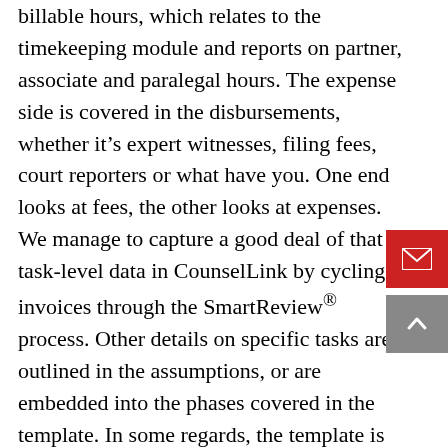billable hours, which relates to the timekeeping module and reports on partner, associate and paralegal hours. The expense side is covered in the disbursements, whether it's expert witnesses, filing fees, court reporters or what have you. One end looks at fees, the other looks at expenses. We manage to capture a good deal of that task-level data in CounselLink by cycling invoices through the SmartReview® process. Other details on specific tasks are outlined in the assumptions, or are embedded into the phases covered in the template. In some regards, the template is supporting documentation, but it really serves to stimulate the thought process with our firms to think logically about the different sequential components of the case and provide the most accurate data they can. "This is what we're asking